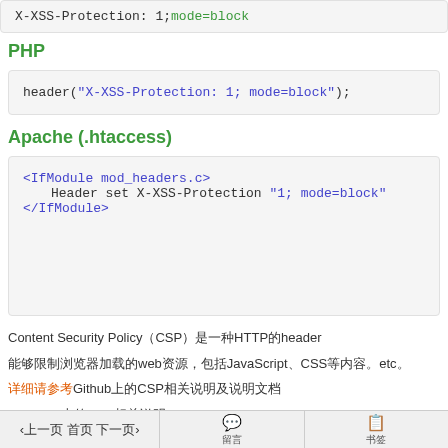X-XSS-Protection: 1;mode=block
PHP
header("X-XSS-Protection: 1; mode=block");
Apache (.htaccess)
<IfModule mod_headers.c>
    Header set X-XSS-Protection "1; mode=block"
</IfModule>
Content Security Policy（CSP）是一种HTTP的header
能够限制浏览器加载的web资源，包括JavaScript、CSS等内容。etc。
详细请参考Github上的CSP相关说明及说明文档
・GitHub上的CSP相关说明
‹上一页 首页 下一页›  　　留言  　　书签